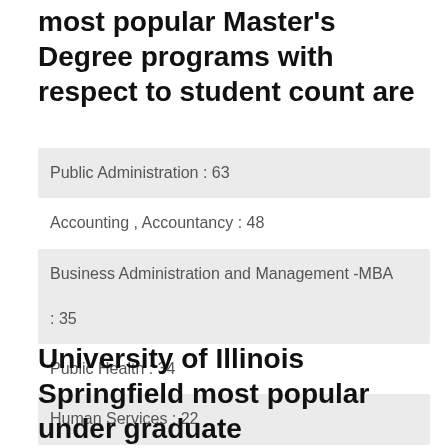most popular Master's Degree programs with respect to student count are
Public Administration : 63
Accounting , Accountancy : 48
Business Administration and Management -MBA : 35
Public Health : 34
Human Services : 22
University of Illinois Springfield most popular under graduate